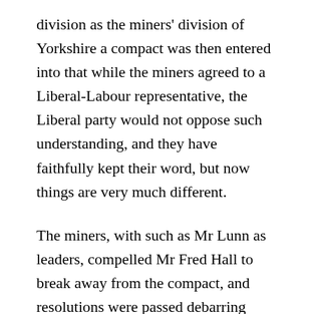division as the miners' division of Yorkshire a compact was then entered into that while the miners agreed to a Liberal-Labour representative, the Liberal party would not oppose such understanding, and they have faithfully kept their word, but now things are very much different.
The miners, with such as Mr Lunn as leaders, compelled Mr Fred Hall to break away from the compact, and resolutions were passed debarring Labour M.P.s going on to the Liberal platforms.
Therefore, the Liberal party, being under no obligation to the Yorkshire miners, are at liberty